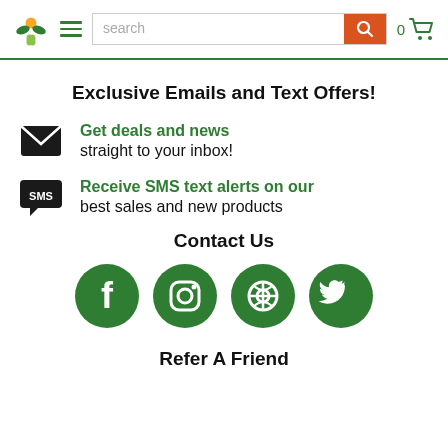Navigation header with logo, hamburger menu, search bar, and cart
Exclusive Emails and Text Offers!
Get deals and news straight to your inbox!
Receive SMS text alerts on our best sales and new products
Contact Us
[Figure (illustration): Four social media icons: Facebook, Instagram, Pinterest, Twitter — all green circles with white icons]
Refer A Friend